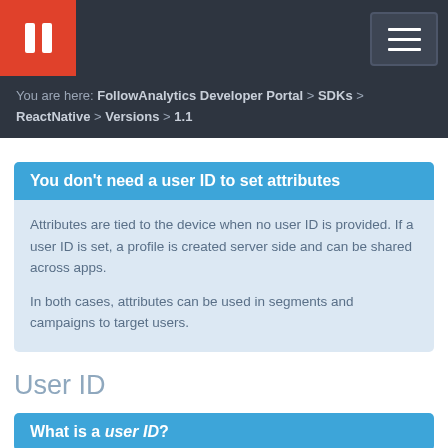You are here: FollowAnalytics Developer Portal > SDKs > ReactNative > Versions > 1.1
You don't need a user ID to set attributes
Attributes are tied to the device when no user ID is provided. If a user ID is set, a profile is created server side and can be shared across apps.
In both cases, attributes can be used in segments and campaigns to target users.
User ID
What is a user ID?